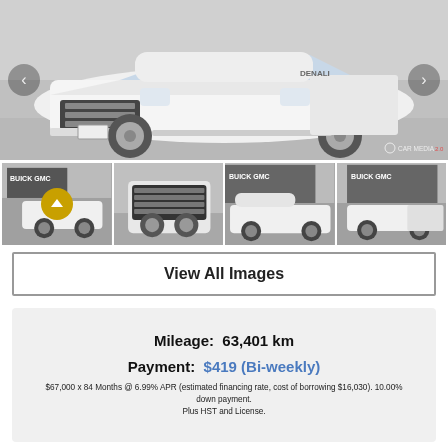[Figure (photo): Main large image of a white GMC Denali pickup truck shown from a front-side angle in a parking lot. Navigation arrows on left and right sides. CarMedia watermark bottom right.]
[Figure (photo): Thumbnail 1: White GMC pickup truck parked in front of a Buick GMC dealership, front-side view. Has a gold/yellow circular up-arrow overlay button.]
[Figure (photo): Thumbnail 2: White GMC pickup truck front grille close-up view in front of a dealership.]
[Figure (photo): Thumbnail 3: White GMC pickup truck side profile view in front of Buick GMC dealership sign.]
[Figure (photo): Thumbnail 4: White GMC pickup truck rear-side view in front of Buick GMC dealership.]
View All Images
Mileage: 63,401 km
Payment: $419 (Bi-weekly)
$67,000 x 84 Months @ 6.99% APR (estimated financing rate, cost of borrowing $16,030). 10.00% down payment. Plus HST and License.